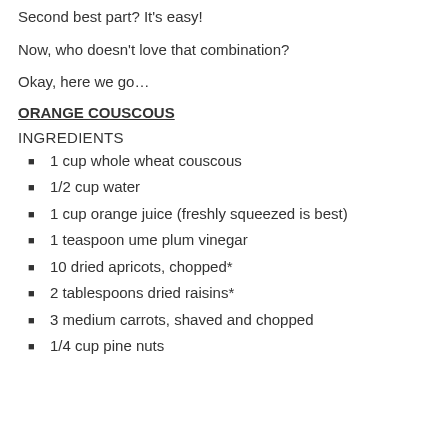Second best part? It's easy!
Now, who doesn't love that combination?
Okay, here we go…
ORANGE COUSCOUS
INGREDIENTS
1 cup whole wheat couscous
1/2 cup water
1 cup orange juice (freshly squeezed is best)
1 teaspoon ume plum vinegar
10 dried apricots, chopped*
2 tablespoons dried raisins*
3 medium carrots, shaved and chopped
1/4 cup pine nuts